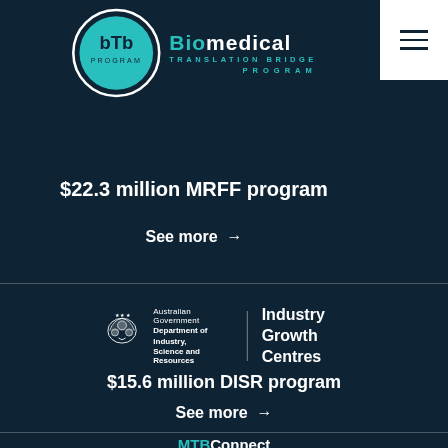[Figure (logo): bTb Biomedical Translation Bridge Program logo — teal circle with bTb text, beside 'Biomedical' in teal/white and 'TRANSLATION BRIDGE PROGRAM' in teal]
$22.3 million MRFF program
See more →
[Figure (logo): Australian Government Department of Industry, Science and Resources — Industry Growth Centres logo]
$15.6 million DISR program
See more →
MTBConnect